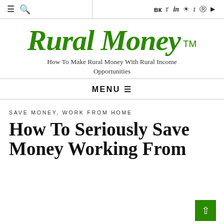≡ 🔍  ⁂ 🐦 in 📷 t 📌 ▶
[Figure (logo): Rural Money logo in green italic cursive font with TM superscript]
How To Make Rural Money With Rural Income Opportunities
MENU ≡
SAVE MONEY, WORK FROM HOME
How To Seriously Save Money Working From